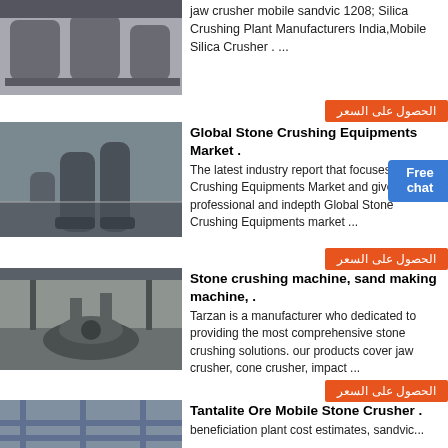[Figure (photo): Industrial machinery – cylindrical metal containers/tanks in factory]
jaw crusher mobile sandvic 1208; Silica Crushing Plant Manufacturers India,Mobile Silica Crusher . ...
الحصول على السعر
[Figure (photo): Stone crushing equipment in industrial hall – tall cylindrical crushers]
Global Stone Crushing Equipments Market .
The latest industry report that focuses on Stone Crushing Equipments Market and gives a professional and indepth Global Stone Crushing Equipments market ...
Free chat
الحصول على السعر
[Figure (photo): Large industrial stone crushing machine on factory floor]
Stone crushing machine, sand making machine, .
Tarzan is a manufacturer who dedicated to providing the most comprehensive stone crushing solutions. our products cover jaw crusher, cone crusher, impact ...
الحصول على السعر
[Figure (photo): Construction or mining site with steel structures]
Tantalite Ore Mobile Stone Crusher .
beneficiation plant cost estimates, sandvic...